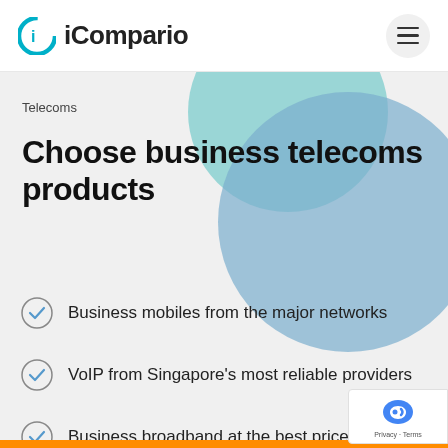[Figure (logo): iCompario logo with cyan C-shaped icon and wordmark]
Telecoms
Choose business telecoms products
Business mobiles from the major networks
VoIP from Singapore's most reliable providers
Business broadband at the best prices